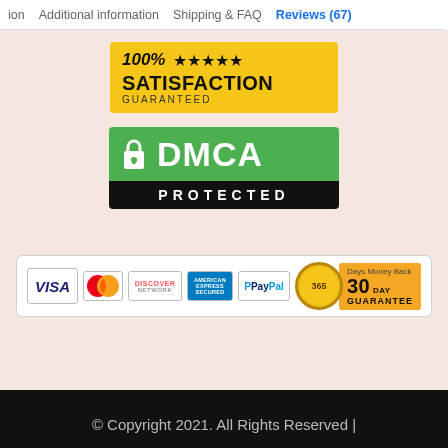ion   Additional information   Shipping & FAQ   Reviews (67)
[Figure (other): 100% Satisfaction Guaranteed badge with 4 gold stars on yellow background]
[Figure (other): DMCA Protected badge - green top section with lock icon and DMCA text, black bottom section with PROTECTED text]
[Figure (other): Payment methods row: VISA, MasterCard, Discover Network, American Express, PayPal, and 30 Day Money Back Guarantee badge]
© Copyright 2021. All Rights Reserved |
[Figure (other): Small product thumbnail of yellow-lens sunglasses]
$8.99
SELECT OPTIONS